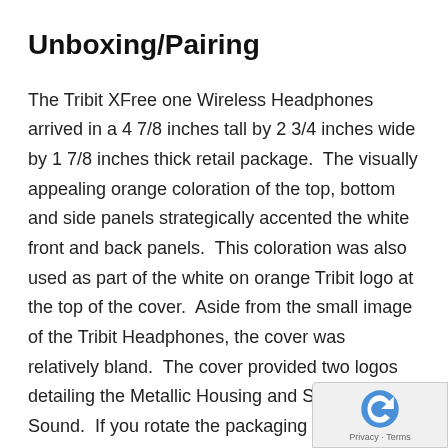Unboxing/Pairing
The Tribit XFree one Wireless Headphones arrived in a 4 7/8 inches tall by 2 3/4 inches wide by 1 7/8 inches thick retail package.  The visually appealing orange coloration of the top, bottom and side panels strategically accented the white front and back panels.  This coloration was also used as part of the white on orange Tribit logo at the top of the cover.  Aside from the small image of the Tribit Headphones, the cover was relatively bland.  The cover provided two logos detailing the Metallic Housing and Superior Sound.  If you rotate the packaging ninety degrees counterclockwise you will learn that they are water resistant, the bo